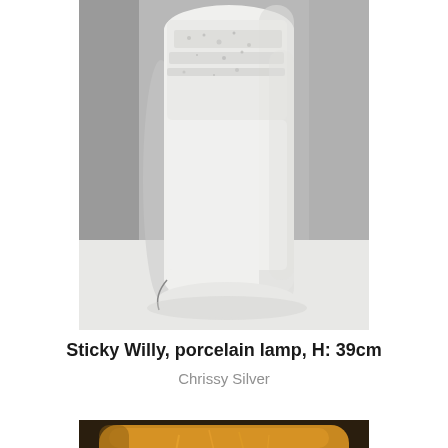[Figure (photo): White porcelain lamp with textured surface, cylindrical shape, photographed against a light grey background on a white surface.]
Sticky Willy, porcelain lamp, H: 39cm
Chrissy Silver
[Figure (photo): Amber/golden ceramic object with incised line markings on a dark background, partially visible at bottom of page.]